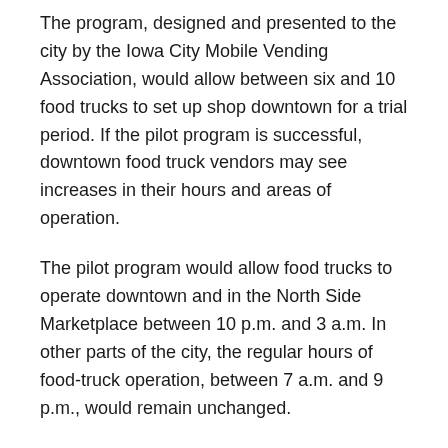The program, designed and presented to the city by the Iowa City Mobile Vending Association, would allow between six and 10 food trucks to set up shop downtown for a trial period. If the pilot program is successful, downtown food truck vendors may see increases in their hours and areas of operation.
The pilot program would allow food trucks to operate downtown and in the North Side Marketplace between 10 p.m. and 3 a.m. In other parts of the city, the regular hours of food-truck operation, between 7 a.m. and 9 p.m., would remain unchanged.
Because most downtown brick-and-mortar restaurants close before 10 or 11 p.m., the vending association hopes the change will avoid creating competition. However, some owners of brick-and-mortar restaurants remain concerned.